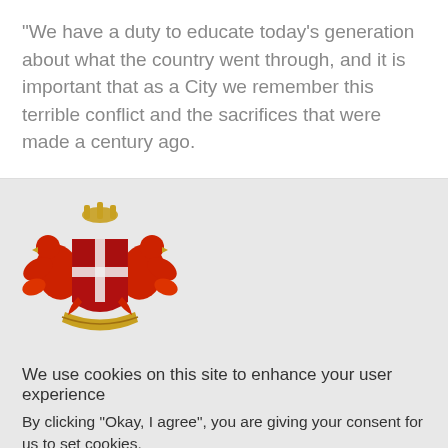"We have a duty to educate today's generation about what the country went through, and it is important that as a City we remember this terrible conflict and the sacrifices that were made a century ago.
[Figure (logo): City coat of arms / heraldic crest with red eagles, shield with cross and quarterings, gold crown and supporters, on grey background]
We use cookies on this site to enhance your user experience
By clicking "Okay, I agree", you are giving your consent for us to set cookies.
No, thanks
Okay, I agree